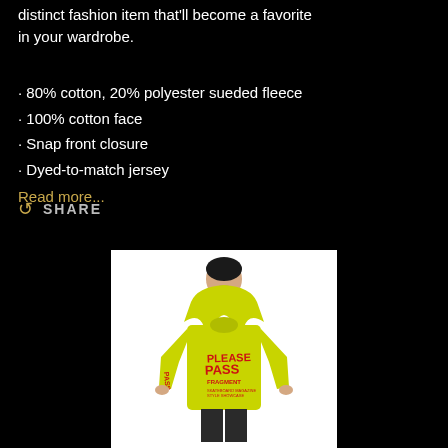distinct fashion item that'll become a favorite in your wardrobe.
80% cotton, 20% polyester sueded fleece
100% cotton face
Snap front closure
Dyed-to-match jersey
Read more...
SHARE
[Figure (photo): Man wearing a bright yellow-green hoodie with red 'PLEASE PASS' graphic text on front and sleeve, white background product photo]